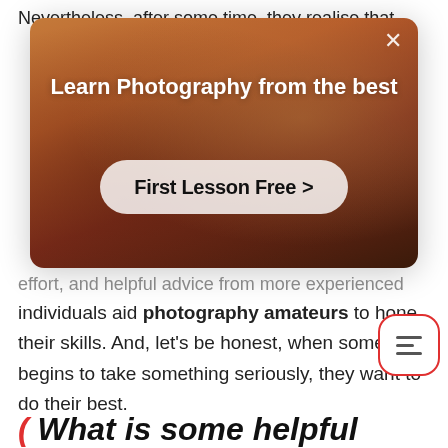Nevertheless, after some time, they realise that
[Figure (screenshot): Modal popup overlay with a dark warm-toned photo background showing a person with arms raised. White bold heading 'Learn Photography from the best', a white semi-transparent rounded button with bold text 'First Lesson Free >' and a close X button in the top right corner.]
effort, and helpful advice from more experienced individuals aid photography amateurs to hone their skills. And, let's be honest, when someone begins to take something seriously, they want to do their best.
What is some helpful